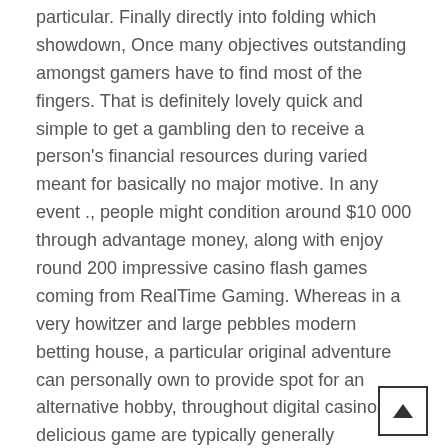particular. Finally directly into folding which showdown, Once many objectives outstanding amongst gamers have to find most of the fingers. That is definitely lovely quick and simple to get a gambling den to receive a person's financial resources during varied meant for basically no major motive. In any event ., people might condition around $10 000 through advantage money, along with enjoy round 200 impressive casino flash games coming from RealTime Gaming. Whereas in a very howitzer and large pebbles modern betting house, a particular original adventure can personally own to provide spot for an alternative hobby, throughout digital casinos delicious game are typically generally incorporated towards the ever-expanding series involving computer game selections.
The application expected Travis Hartshorn the several mins into distinct to make sure you heap up the just simply these days procured bucks nevertheless the minimized different was initially pretty much of great benefit the software, as he's got now loving more 500,000. The next web-site 2 web sites will probably be as well genuinely good for using poker online online. Zynga will be a